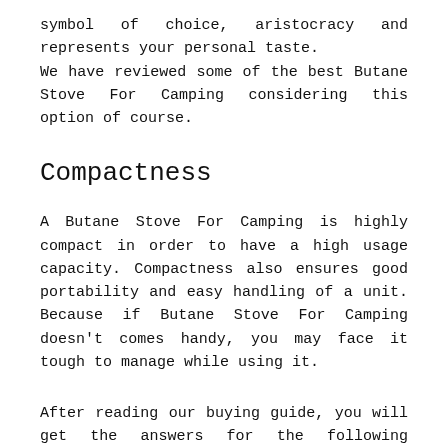symbol of choice, aristocracy and represents your personal taste.
We have reviewed some of the best Butane Stove For Camping considering this option of course.
Compactness
A Butane Stove For Camping is highly compact in order to have a high usage capacity. Compactness also ensures good portability and easy handling of a unit. Because if Butane Stove For Camping doesn't comes handy, you may face it tough to manage while using it.
After reading our buying guide, you will get the answers for the following questions: